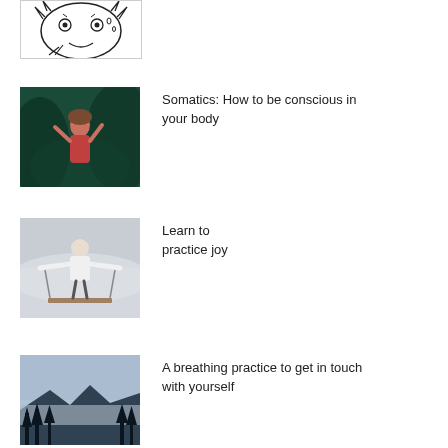[Figure (illustration): Black and white line drawing of a person with wide eyes and hands near mouth, appearing stressed or anxious]
[Figure (photo): Photo of a woman in a red outfit laying back in lush green foliage]
Somatics: How to be conscious in your body
[Figure (photo): Photo of a person in a white shirt with arms outstretched on a swing in misty atmosphere]
Learn to practice joy
[Figure (photo): Photo of a misty forest landscape with mountains and trees]
A breathing practice to get in touch with yourself